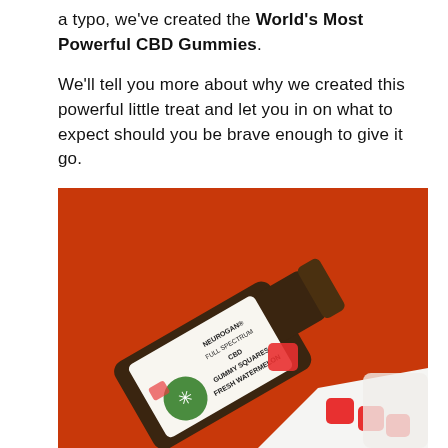a typo, we've created the World's Most Powerful CBD Gummies.
We'll tell you more about why we created this powerful little treat and let you in on what to expect should you be brave enough to give it go.
[Figure (photo): Photo of a tilted dark amber glass bottle labeled 'Neurogan CBD Gummy Squares Fresh Watermelon Full Spectrum' against an orange-red background, with red watermelon-flavored gummy squares spilling out of the open bottle.]